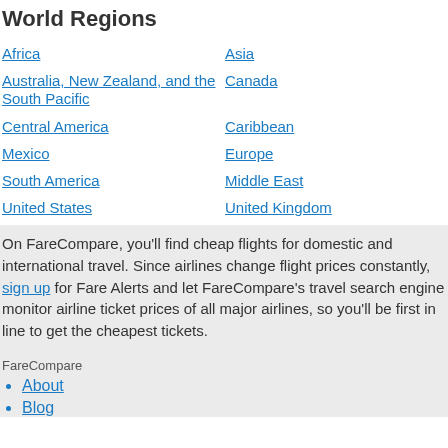World Regions
Africa
Asia
Australia, New Zealand, and the South Pacific
Canada
Caribbean
Central America
Europe
Mexico
Middle East
South America
United Kingdom
United States
On FareCompare, you’ll find cheap flights for domestic and international travel. Since airlines change flight prices constantly, sign up for Fare Alerts and let FareCompare’s travel search engine monitor airline ticket prices of all major airlines, so you’ll be first in line to get the cheapest tickets.
FareCompare
About
Blog